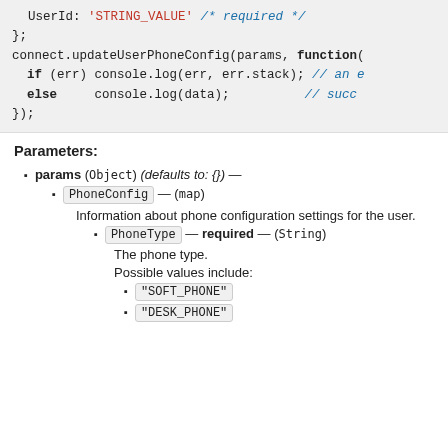[Figure (screenshot): Code block showing JavaScript snippet with UserId string value, connect.updateUserPhoneConfig call with callback function, if/else error handling]
Parameters:
params (Object) (defaults to: {}) —
PhoneConfig — (map)
Information about phone configuration settings for the user.
PhoneType — required — (String)
The phone type.
Possible values include:
"SOFT_PHONE"
"DESK_PHONE"